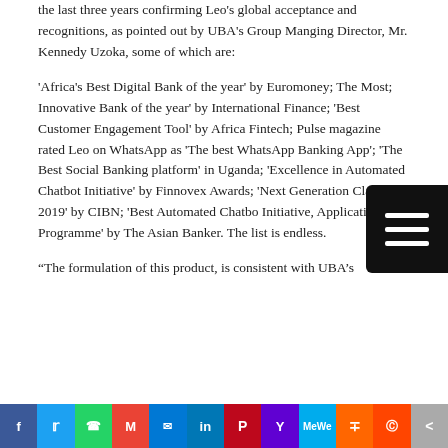the last three years confirming Leo's global acceptance and recognitions, as pointed out by UBA's Group Manging Director, Mr. Kennedy Uzoka, some of which are:
'Africa's Best Digital Bank of the year' by Euromoney; The Most; Innovative Bank of the year' by International Finance; 'Best Customer Engagement Tool' by Africa Fintech; Pulse magazine rated Leo on WhatsApp as 'The best WhatsApp Banking App'; 'The Best Social Banking platform' in Uganda; 'Excellence in Automated Chatbot Initiative' by Finnovex Awards; 'Next Generation Class of 2019' by CIBN; 'Best Automated Chatbot Initiative, Application or Programme' by The Asian Banker. The list is endless.
“The formulation of this product, is consistent with UBA’s
[Figure (other): Hamburger menu button (three horizontal white lines on black background)]
f  Twitter  WhatsApp  M  Messenger  in  Pinterest  Y  MeWe  Mix  Reddit  Share